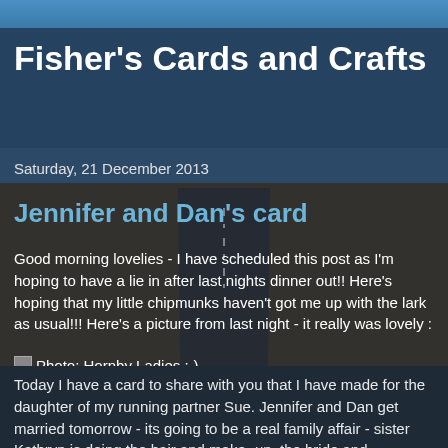Fisher's Cards and Crafts
Saturday, 21 December 2013
Jennifer and Dan's card
Good morning lovelies - I have scheduled this post as I'm hoping to have a lie in after last nights dinner out!! Here's hoping that my little chipmunks haven't got me up with the lark as usual!!! Here's a picture from last night - it really was lovely :
[Figure (photo): Broken image placeholder with caption: Photo: Hornby Ladies :-)]
Today I have a card to share with you that I have made for the daughter of my running partner Sue. Jennifer and Dan get married tomorrow - its going to be a real family affair - sister Kathryn is doing the hair and make -up, the bride and